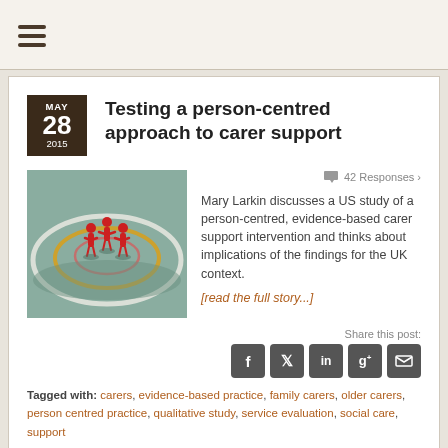Testing a person-centred approach to carer support
[Figure (illustration): Red figurines standing together on a circular rippled platform, illustrating the concept of person-centred care and support.]
42 Responses »
Mary Larkin discusses a US study of a person-centred, evidence-based carer support intervention and thinks about implications of the findings for the UK context.
[read the full story...]
Share this post:
Tagged with: carers, evidence-based practice, family carers, older carers, person centred practice, qualitative study, service evaluation, social care, support